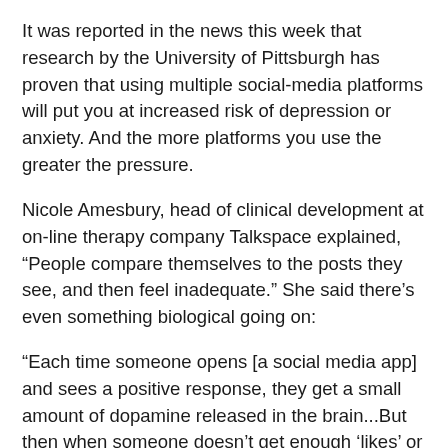It was reported in the news this week that research by the University of Pittsburgh has proven that using multiple social-media platforms will put you at increased risk of depression or anxiety. And the more platforms you use the greater the pressure.
Nicole Amesbury, head of clinical development at on-line therapy company Talkspace explained, “People compare themselves to the posts they see, and then feel inadequate.” She said there’s even something biological going on:
“Each time someone opens [a social media app] and sees a positive response, they get a small amount of dopamine released in the brain...But then when someone doesn’t get enough ‘likes’ or dopamine hits, they feel the loss.”